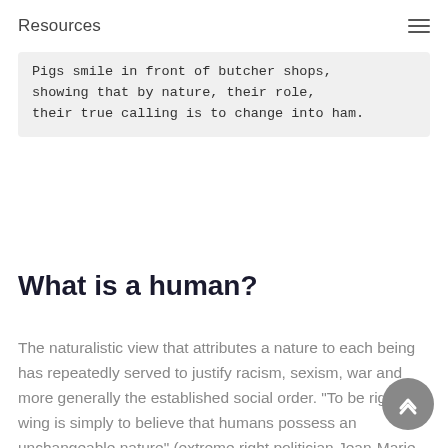Resources
Pigs smile in front of butcher shops,
showing that by nature, their role,
their true calling is to change into ham.
What is a human?
The naturalistic view that attributes a nature to each being has repeatedly served to justify racism, sexism, war and more generally the established social order. "To be right-wing is simply to believe that humans possess an unchangeable nature" (extreme right politician Jean-Marie Le Pen, quoted from memory). Christians view our soul as God-given; others believe that the natures of beings are